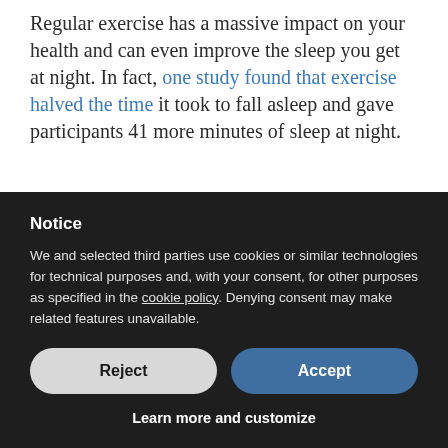Regular exercise has a massive impact on your health and can even improve the sleep you get at night. In fact, one study found that exercise halved the time it took to fall asleep and gave participants 41 more minutes of sleep at night.
Notice
We and selected third parties use cookies or similar technologies for technical purposes and, with your consent, for other purposes as specified in the cookie policy. Denying consent may make related features unavailable.
Reject
Accept
Learn more and customize